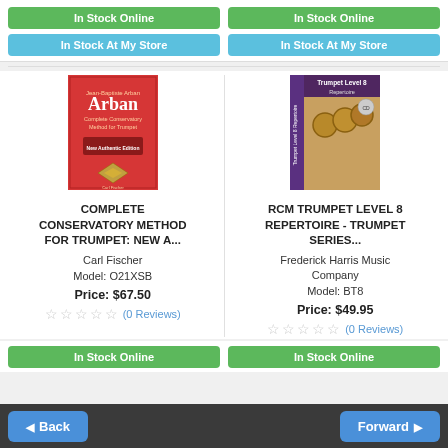In Stock Online
In Stock At My Store
In Stock Online
In Stock At My Store
[Figure (photo): Book cover: Arban Complete Conservatory Method for Trumpet, red cover with decorative diamond pattern]
COMPLETE CONSERVATORY METHOD FOR TRUMPET: NEW A...
Carl Fischer
Model: O21XSB
Price: $67.50
(0 Reviews)
[Figure (photo): Book cover: RCM Trumpet Level 8 Repertoire, purple spine with close-up photo of trumpet valves]
RCM TRUMPET LEVEL 8 REPERTOIRE - TRUMPET SERIES...
Frederick Harris Music Company
Model: BT8
Price: $49.95
(0 Reviews)
In Stock Online
In Stock Online
Back
Forward